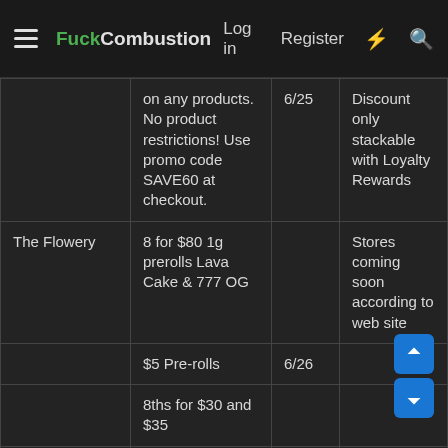FuckCombustion — Log in | Register
| Store | Deal | Date | Notes |
| --- | --- | --- | --- |
|  | on any products. No product restrictions! Use promo code SAVE60 at checkout. | 6/25 | Discount only stackable with Loyalty Rewards |
| The Flowery | 8 for $80 1g prerolls Lava Cake & 777 OG |  | Stores coming soon according to web site |
|  | $5 Pre-rolls | 6/26 |  |
|  | 8ths for $30 and $35 |  |  |
|  |  |  | Strains: Carrot Breath, Ice Cream Cake #5, Jet Fuel (SATIVA |